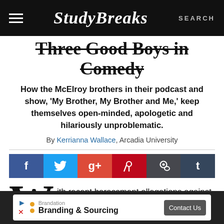Study Breaks — SEARCH
Three Good Boys in Comedy
How the McElroy brothers in their podcast and show, 'My Brother, My Brother and Me,' keep themselves open-minded, apologetic and hilariously unproblematic.
By Kerrianna Wallace, Arcadia University
[Figure (other): Social sharing buttons: Facebook, Twitter, Google+, Pinterest, Reddit, Tumblr]
With recent harassment allegations against comedians, actors and
[Figure (other): Advertisement banner: Brandation — Branding & Sourcing, Contact Us button]